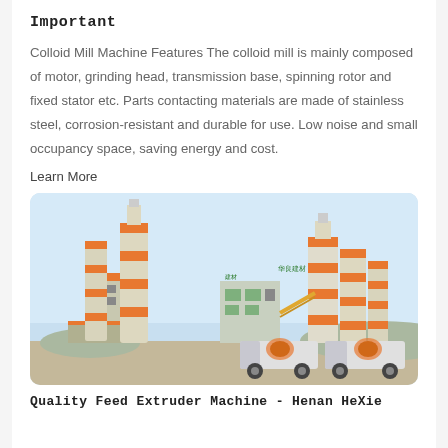Important
Colloid Mill Machine Features The colloid mill is mainly composed of motor, grinding head, transmission base, spinning rotor and fixed stator etc. Parts contacting materials are made of stainless steel, corrosion-resistant and durable for use. Low noise and small occupancy space, saving energy and cost.
Learn More
[Figure (photo): Industrial concrete batching plant with tall silos marked with orange bands and Chinese characters, multiple cement mixer trucks in foreground, outdoor industrial facility.]
Quality Feed Extruder Machine - Henan HeXie